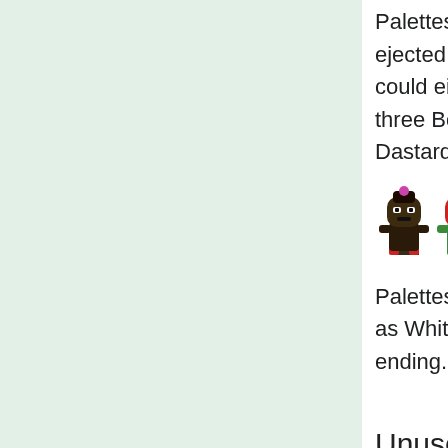Palettes for the other three major Bomberman colors being ejected into space after the Dark Stage base explodes. This could either be evidence of an earlier storyline where these three Bombermen are captured along with White by the Dastardly Bombers, or a four player Normal Game.
[Figure (illustration): Three pixel-art Bomberman sprites: black, red, and blue colored characters]
Palettes for Black, Red, Blue Bomberman falling back to Earth, as White Bomberman does in the next-to-last screen in the ending.
(Source: Mattrizzle)
Unused Text
Debug Menu